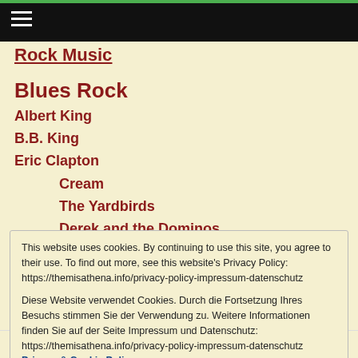Rock Music
Blues Rock
Albert King
B.B. King
Eric Clapton
Cream
The Yardbirds
Derek and the Dominos
Blind Faith (partial)
This website uses cookies. By continuing to use this site, you agree to their use. To find out more, see this website's Privacy Policy: https://themisathena.info/privacy-policy-impressum-datenschutz

Diese Website verwendet Cookies. Durch die Fortsetzung Ihres Besuchs stimmen Sie der Verwendung zu. Weitere Informationen finden Sie auf der Seite Impressum und Datenschutz: https://themisathena.info/privacy-policy-impressum-datenschutz Privacy & Cookie Policy
Close and accept
Classic Music Reviews / Blog Posts